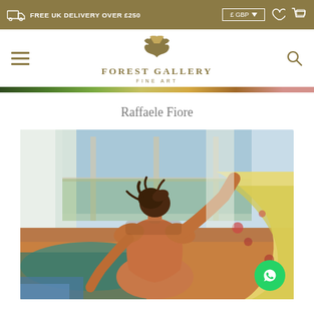FREE UK DELIVERY OVER £250 | £ GBP
[Figure (logo): Forest Gallery Fine Art logo — stylized bird/animal shape above text reading FOREST GALLERY FINE ART in olive/gold color]
Raffaele Fiore
[Figure (photo): Painting by Raffaele Fiore depicting a nude woman seen from behind, sitting near large windows with sheer white curtains, holding a floral yellow fabric draped across a colorful bed with teal and blue linens; impressionist style with soft warm light]